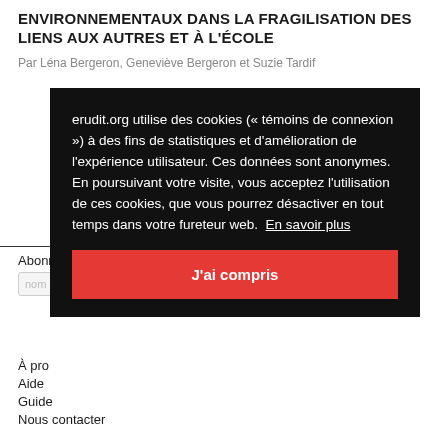ENVIRONNEMENTAUX DANS LA FRAGILISATION DES LIENS AUX AUTRES ET À L'ÉCOLE
Par Léna Bergeron, Geneviève Bergeron et Suzie Tardif
erudit.org utilise des cookies (« témoins de connexion ») à des fins de statistiques et d'amélioration de l'expérience utilisateur. Ces données sont anonymes. En poursuivant votre visite, vous acceptez l'utilisation de ces cookies, que vous pourrez désactiver en tout temps dans votre fureteur web. En savoir plus
J'ai compris
Abonné
nom
À pro
Aide
Guide
Nous contacter